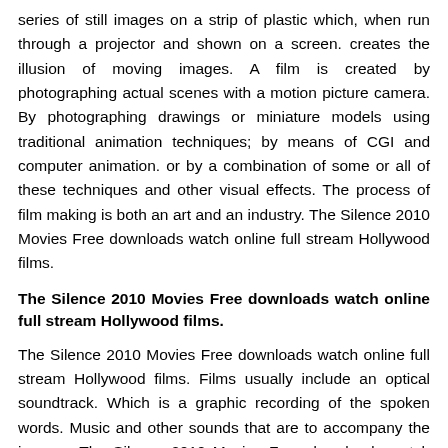series of still images on a strip of plastic which, when run through a projector and shown on a screen. creates the illusion of moving images. A film is created by photographing actual scenes with a motion picture camera. By photographing drawings or miniature models using traditional animation techniques; by means of CGI and computer animation. or by a combination of some or all of these techniques and other visual effects. The process of film making is both an art and an industry. The Silence 2010 Movies Free downloads watch online full stream Hollywood films.
The Silence 2010 Movies Free downloads watch online full stream Hollywood films.
The Silence 2010 Movies Free downloads watch online full stream Hollywood films. Films usually include an optical soundtrack. Which is a graphic recording of the spoken words. Music and other sounds that are to accompany the images. The Silence 2010 Movies Free downloads watch online full stream Hollywood films. It runs along a portion of the film exclusively reserved for it and is not projected. The